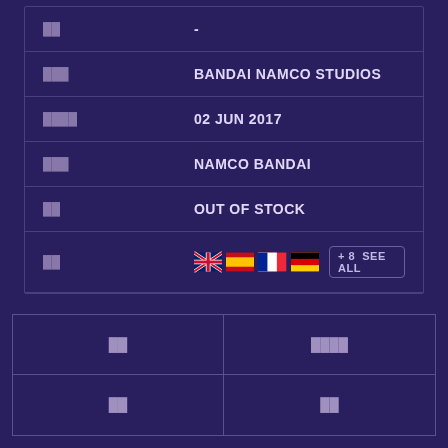| ██ | - |
| ███ | BANDAI NAMCO STUDIOS |
| ████ | 02 JUN 2017 |
| ███ | NAMCO BANDAI |
| ██ | OUT OF STOCK |
| ██ | 🇬🇧 🇪🇸 🇫🇷 🇩🇪 + 8 SEE ALL |
██
████
██
██